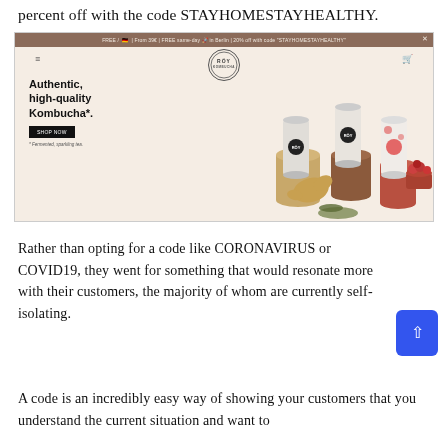percent off with the code STAYHOMESTAYHEALTHY.
[Figure (screenshot): Screenshot of the ROY Kombucha website showing a hero section with the headline 'Authentic, high-quality Kombucha*.' and a SHOP NOW button, product cans arranged on colored platforms, and a promotional browser bar mentioning STAYHOMESTAYHEALTHY discount code.]
Rather than opting for a code like CORONAVIRUS or COVID19, they went for something that would resonate more with their customers, the majority of whom are currently self-isolating.
A code is an incredibly easy way of showing your customers that you understand the current situation and want to